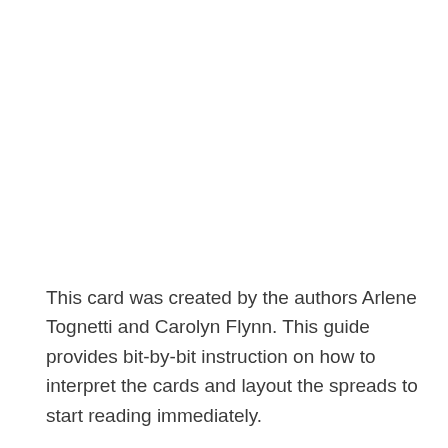This card was created by the authors Arlene Tognetti and Carolyn Flynn. This guide provides bit-by-bit instruction on how to interpret the cards and layout the spreads to start reading immediately.